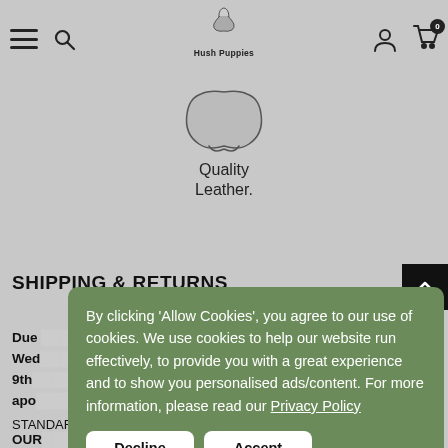Hush Puppies navigation bar with hamburger menu, search, logo, account and cart icons
[Figure (logo): Hush Puppies dog logo with text 'Hush Puppies' and quality leather badge icon below]
Quality Leather.
SHIPPING & RETURNS
Due ... st, Wed ... ay 9th ... e apo...
OUR...
By clicking 'Allow Cookies', you agree to our use of cookies. We use cookies to help our website run effectively, to provide you with a great experience and to show you personalised ads/content. For more information, please read our Privacy Policy
STANDARD DELIVERY We offer standard delivery of £4.99 for